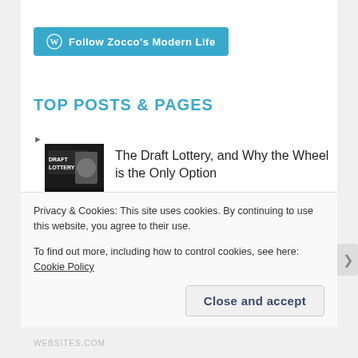[Figure (logo): WordPress follow button: teal/cyan rounded rectangle with WordPress logo icon and text 'Follow Zocco's Modern Life']
TOP POSTS & PAGES
[Figure (photo): Thumbnail image for 'The Draft Lottery' post - dark background with draft lottery text/imagery]
The Draft Lottery, and Why the Wheel is the Only Option
[Figure (photo): Thumbnail image for 'Madden 16' post - blue Madden football game cover]
Madden 16: Madden Season is Upon Us
Privacy & Cookies: This site uses cookies. By continuing to use this website, you agree to their use.
To find out more, including how to control cookies, see here: Cookie Policy
Close and accept